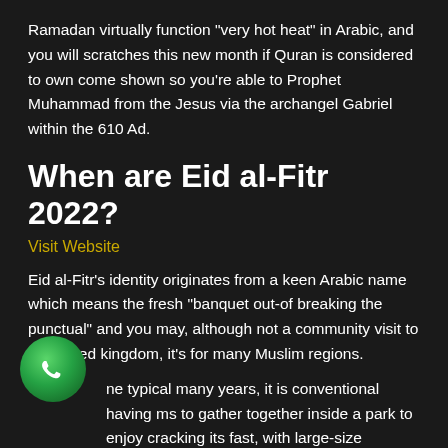Ramadan virtually function “very hot heat” in Arabic, and you will scratches this new month if Quran is considered to own come shown so you’re able to Prophet Muhammad from the Jesus via the archangel Gabriel within the 610 Ad.
When are Eid al-Fitr 2022?
Visit Website
Eid al-Fitr’s identity originates from a keen Arabic name which means the fresh “banquet out-of breaking the punctual” and you may, although not a community visit to the united kingdom, it’s for many Muslim regions.
ne typical many years, it is conventional having ms to gather together inside a park to enjoy cracking its fast, with large-size occurrences and you will
[Figure (logo): WhatsApp logo - green circle with white phone/chat icon]